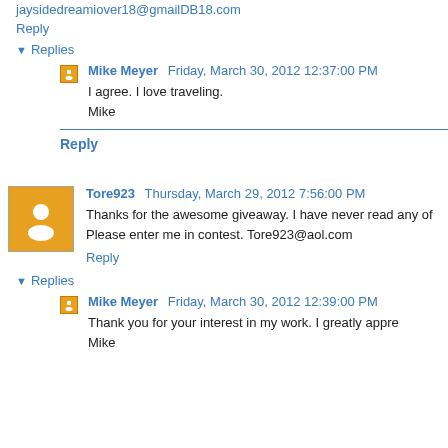jaysidedreamiover18@gmailDB18.com
Reply
Replies
Mike Meyer  Friday, March 30, 2012 12:37:00 PM
I agree. I love traveling.
Mike
Reply
Tore923  Thursday, March 29, 2012 7:56:00 PM
Thanks for the awesome giveaway. I have never read any of... Please enter me in contest. Tore923@aol.com
Reply
Replies
Mike Meyer  Friday, March 30, 2012 12:39:00 PM
Thank you for your interest in my work. I greatly appre... Mike